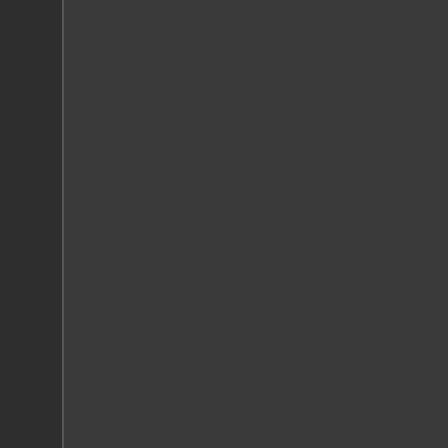therapy. This two part process is reduced chance at relapse than wi...
Residential, as well as outpatient t... problems from ecstasy abuse. The... correlating the appropriate treatme... gaining ground as a positive appro... approach provides rewards for re... option can help the individual who... society with healthy activities that p...
Heroin Abuse Help, Boston, Geo...
Heroin abuse help is often neces... Heroin is a highly addictive subst... regular use. Because mild withdra... their "sickness" is actually withdra... can be very serious as heroin abu... havoc to their work, money, relatio...
The first step to help an individual... the drug itself and help them con... There are many steps that follow t... treatment program will go through... importance on the road of heroin a... for heroin abuse. The knowledge a... everyday life to truly be effective.
Marijuana Abuse Help, Boston, G...
There are many individuals who fin... order to help yourself or someone... using marijuana is understood. Th... often helpful to identify the reaso... providing ideas of how to achieve... example, some people abuse mar... relaxing without smoking marijua... enhance conversation and social... years of smoking, the quality of rel...